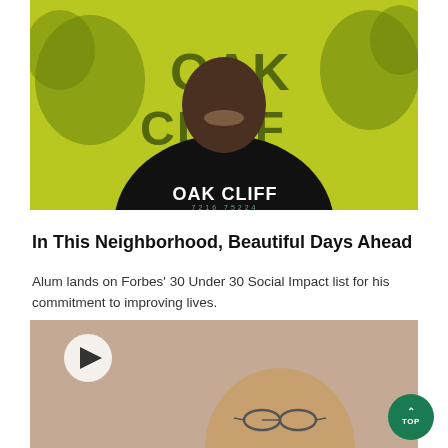[Figure (photo): A smiling man wearing a black hoodie that reads 'OAK CLIFF' with numbers '7216 75224' etc., posing in front of a bright yellow-green background with graffiti-style lettering.]
In This Neighborhood, Beautiful Days Ahead
Alum lands on Forbes' 30 Under 30 Social Impact list for his commitment to improving lives.
[Figure (photo): A bald man with glasses photographed from shoulders up against a neutral background. A play button overlay is visible in the upper left corner of the image.]